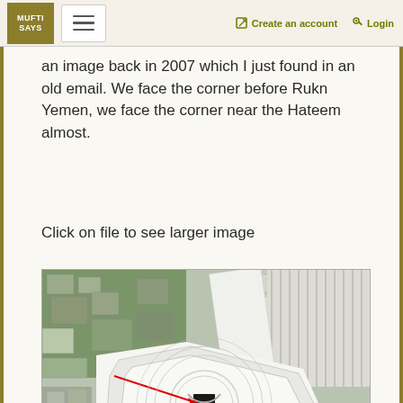MUFTI SAYS | Create an account | Login
an image back in 2007 which I just found in an old email. We face the corner before Rukn Yemen, we face the corner near the Hateem almost.
Click on file to see larger image
[Figure (photo): Aerial/satellite view of Masjid al-Haram in Mecca, showing the Kaaba at center with surrounding mosque structure, courtyard, and surrounding city buildings. A red line/arrow points from outside toward the Kaaba.]